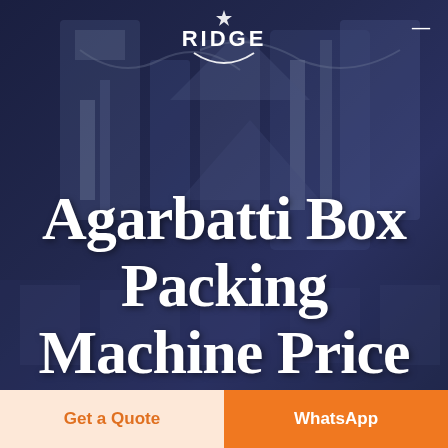[Figure (screenshot): Dark navy blue background with industrial machinery (packaging machines) visible as a semi-transparent overlay]
RIDGE
Agarbatti Box Packing Machine Price In Pakistan Samsung Galaxy S7 Edge 2017
Get a Quote
WhatsApp